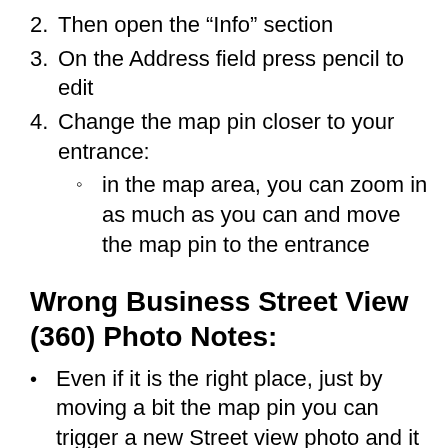2. Then open the “Info” section
3. On the Address field press pencil to edit
4. Change the map pin closer to your entrance:
in the map area, you can zoom in as much as you can and move the map pin to the entrance
Wrong Business Street View (360) Photo Notes:
Even if it is the right place, just by moving a bit the map pin you can trigger a new Street view photo and it can take 2 weeks to appear.
Check if the address is “correctly”